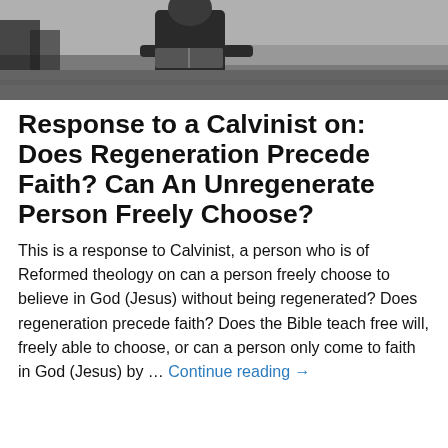[Figure (photo): Black and white photo of a person holding a book, standing outdoors near a beach or sandy area]
Response to a Calvinist on: Does Regeneration Precede Faith? Can An Unregenerate Person Freely Choose?
This is a response to Calvinist, a person who is of Reformed theology on can a person freely choose to believe in God (Jesus) without being regenerated?  Does regeneration precede faith?  Does the Bible teach free will, freely able to choose, or can a person only come to faith in God (Jesus) by … Continue reading →